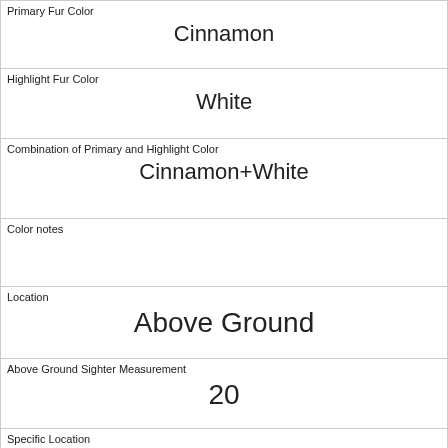| Primary Fur Color | Cinnamon |
| Highlight Fur Color | White |
| Combination of Primary and Highlight Color | Cinnamon+White |
| Color notes |  |
| Location | Above Ground |
| Above Ground Sighter Measurement | 20 |
| Specific Location |  |
| Running | 0 |
| Chasing | 0 |
| Climbing | 1 |
| Eating |  |